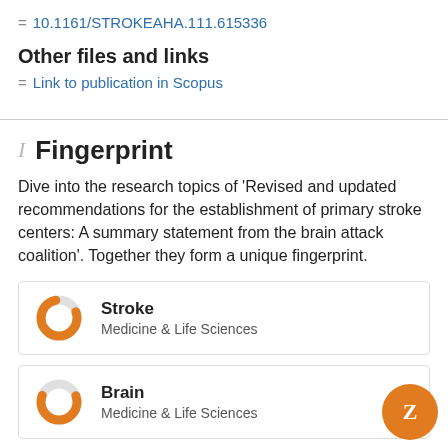10.1161/STROKEAHA.111.615336
Other files and links
Link to publication in Scopus
Fingerprint
Dive into the research topics of 'Revised and updated recommendations for the establishment of primary stroke centers: A summary statement from the brain attack coalition'. Together they form a unique fingerprint.
Stroke
Medicine & Life Sciences
Brain
Medicine & Life Sciences